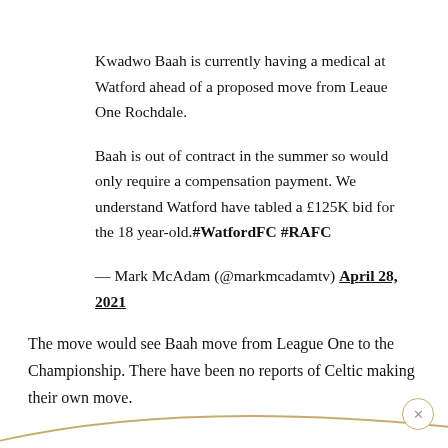Kwadwo Baah is currently having a medical at Watford ahead of a proposed move from Leaue One Rochdale.
Baah is out of contract in the summer so would only require a compensation payment. We understand Watford have tabled a £125K bid for the 18 year-old. #WatfordFC #RAFC
— Mark McAdam (@markmcadamtv) April 28, 2021
The move would see Baah move from League One to the Championship. There have been no reports of Celtic making their own move.